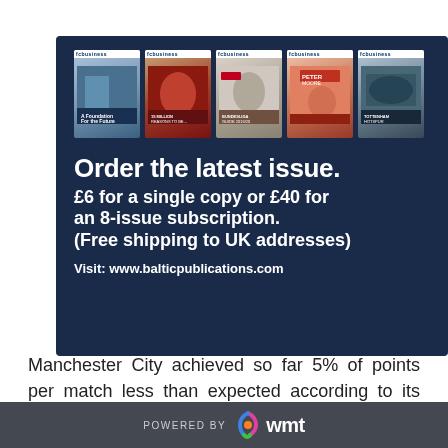[Figure (illustration): Advertisement banner for FC Business magazine on dark navy background. Shows 5 magazine covers in a row at top, then headline text: 'Order the latest issue. £6 for a single copy or £40 for an 8-issue subscription. (Free shipping to UK addresses)' and 'Visit: www.balticpublications.com']
Manchester City achieved so far 5% of points per match less than expected according to its pitch production. Conversely, Liverpool obtained 15% more and its results are supposed to decline in the second
POWERED BY wmt